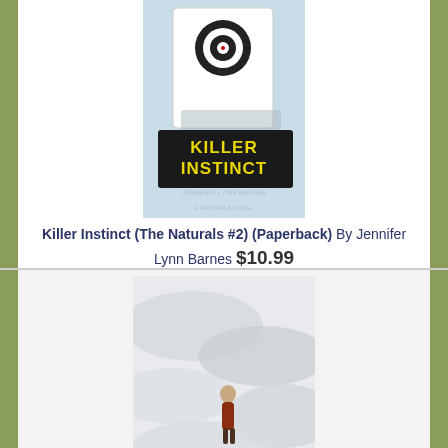[Figure (illustration): Book cover for Killer Instinct (The Naturals #2) showing a target/bullseye and the title in yellow block letters on a dark background]
Killer Instinct (The Naturals #2) (Paperback) By Jennifer Lynn Barnes $10.99
Add to Wish List
ADD TO CART
Usually Ships in 1-5 Days
[Figure (illustration): Book cover for Elatsoe showing a figure in a red coat against a swirling white and grey cloudy/snowy background with the title in teal cursive script]
Elatsoe (Hardcover) By Darcie Little Badger, Rovina Cai (Illustrator) $18.99
Add to Wish List